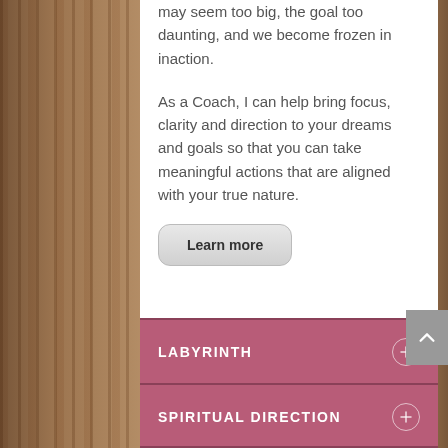may seem too big, the goal too daunting, and we become frozen in inaction.
As a Coach, I can help bring focus, clarity and direction to your dreams and goals so that you can take meaningful actions that are aligned with your true nature.
Learn more
LABYRINTH
SPIRITUAL DIRECTION